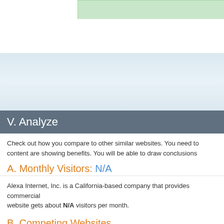V. Analyze
Check out how you compare to other similar websites. You need to content are showing benefits. You will be able to draw conclusions
A. Monthly Visitors: N/A
Alexa Internet, Inc. is a California-based company that provides commercial website gets about N/A visitors per month.
B. Competing Websites
| Site | Domain Authority | Moz Rank | Monthly T |
| --- | --- | --- | --- |
| seoconsulting.ng | 0 | 0 | N/A |